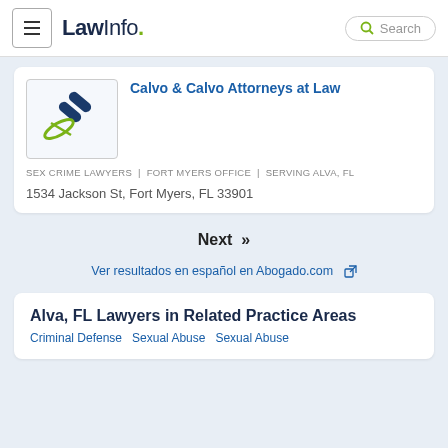LawInfo. Search
[Figure (logo): Calvo & Calvo Attorneys at Law logo with crossed tools/gavel icon]
Calvo & Calvo Attorneys at Law
SEX CRIME LAWYERS  |  FORT MYERS OFFICE  |  SERVING ALVA, FL
1534 Jackson St, Fort Myers, FL 33901
Next »
Ver resultados en español en Abogado.com
Alva, FL Lawyers in Related Practice Areas
Criminal Defense  Sexual Abuse  Sexual Abuse...